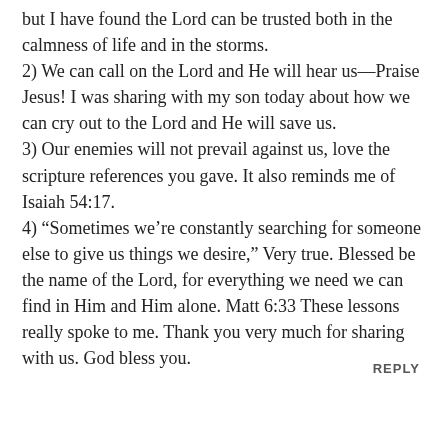but I have found the Lord can be trusted both in the calmness of life and in the storms.
2) We can call on the Lord and He will hear us—Praise Jesus! I was sharing with my son today about how we can cry out to the Lord and He will save us.
3) Our enemies will not prevail against us, love the scripture references you gave. It also reminds me of Isaiah 54:17.
4) “Sometimes we’re constantly searching for someone else to give us things we desire,” Very true. Blessed be the name of the Lord, for everything we need we can find in Him and Him alone. Matt 6:33 These lessons really spoke to me. Thank you very much for sharing with us. God bless you.
REPLY